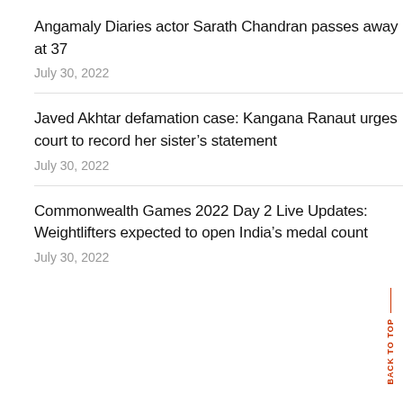Angamaly Diaries actor Sarath Chandran passes away at 37
July 30, 2022
Javed Akhtar defamation case: Kangana Ranaut urges court to record her sister’s statement
July 30, 2022
Commonwealth Games 2022 Day 2 Live Updates: Weightlifters expected to open India’s medal count
July 30, 2022